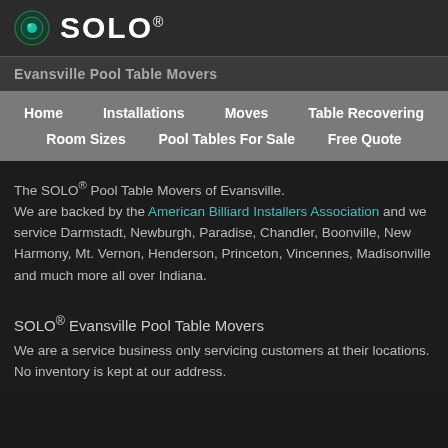SOLO® Evansville Pool Table Movers
Evansville Pool Table Movers
Home
Installations
Moves
Table Recovering
Room Sizes
Pool Tables For Sale
Free Quote
The SOLO® Pool Table Movers of Evansville. We are backed by the American Billiard Installers Association and we service Darmstadt, Newburgh, Paradise, Chandler, Boonville, New Harmony, Mt. Vernon, Henderson, Princeton, Vincennes, Madisonville and much more all over Indiana.
SOLO® Evansville Pool Table Movers
We are a service business only servicing customers at their locations.
No inventory is kept at our address.